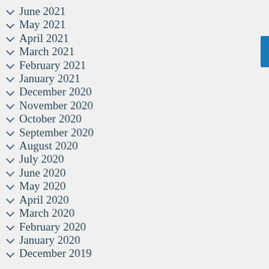June 2021
May 2021
April 2021
March 2021
February 2021
January 2021
December 2020
November 2020
October 2020
September 2020
August 2020
July 2020
June 2020
May 2020
April 2020
March 2020
February 2020
January 2020
December 2019